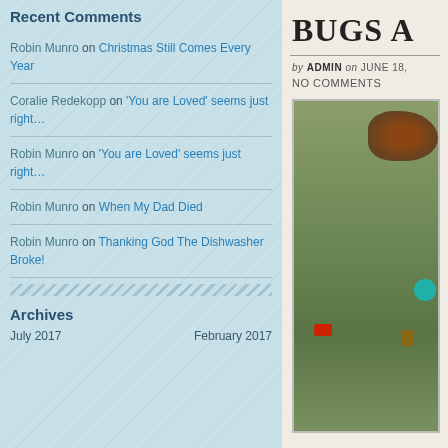Recent Comments
Robin Munro on Christmas Still Comes Every Year
Coralie Redekopp on 'You are Loved' seems just right…
Robin Munro on 'You are Loved' seems just right…
Robin Munro on When My Dad Died
Robin Munro on Thanking God The Dishwasher Broke!
Archives
July 2017    February 2017
BUGS A
by ADMIN on JUNE 18,
NO COMMENTS
[Figure (photo): Outdoor scene showing grass with shrubs in background, small teal ball visible on right, red and brown items on ground]